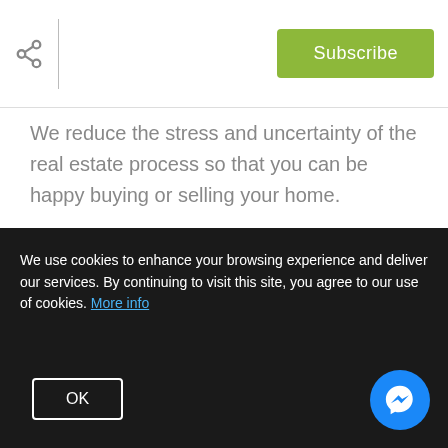[Figure (screenshot): Share icon and vertical divider line in page header]
[Figure (screenshot): Green Subscribe button in header]
We reduce the stress and uncertainty of the real estate process so that you can be happy buying or selling your home.
[Figure (screenshot): Social media icons row: Facebook, Twitter, Google+, LinkedIn, Pinterest, YouTube, Instagram]
POWERED BY
[Figure (logo): Curayt or Curaytor logo with red C icon]
We use cookies to enhance your browsing experience and deliver our services. By continuing to visit this site, you agree to our use of cookies. More info
[Figure (screenshot): OK button for cookie consent]
[Figure (screenshot): Facebook Messenger chat button (blue circle)]